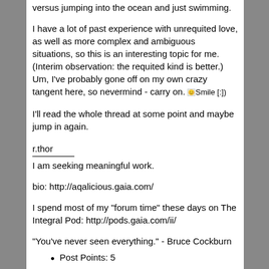versus jumping into the ocean and just swimming.
I have a lot of past experience with unrequited love, as well as more complex and ambiguous situations, so this is an interesting topic for me.  (Interim observation: the requited kind is better.)  Um, I've probably gone off on my own crazy tangent here, so nevermind - carry on. Smile [:)]
I'll read the whole thread at some point and maybe jump in again.
r.thor
I am seeking meaningful work.
bio: http://aqalicious.gaia.com/
I spend most of my "forum time" these days on The Integral Pod: http://pods.gaia.com/ii/
"You've never seen everything." - Bruce Cockburn
Post Points: 5